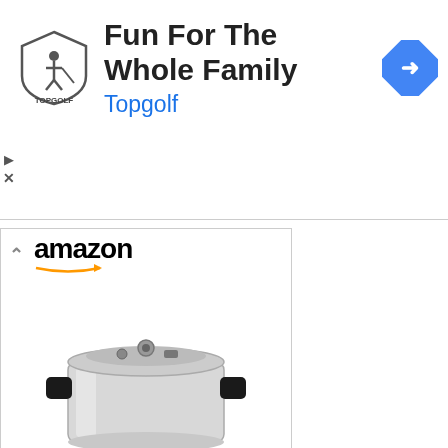[Figure (screenshot): Topgolf advertisement banner with logo, headline 'Fun For The Whole Family', brand name 'Topgolf', and a blue navigation diamond icon on the right]
[Figure (screenshot): Amazon product widget showing a Presto 01781 23-Quart pressure canner/cooker priced at $149.99 with Prime badge and Shop now button]
[Figure (screenshot): Partial second Amazon product widget showing bottom of another product (dark colored pressure cooker)]